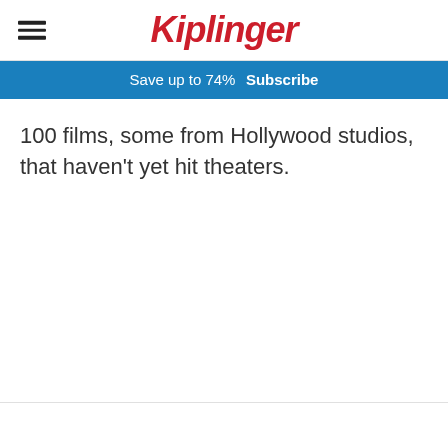Kiplinger
Save up to 74%  Subscribe
100 films, some from Hollywood studios, that haven't yet hit theaters.